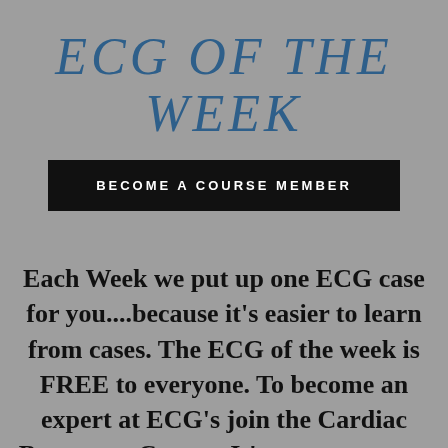ECG OF THE WEEK
BECOME A COURSE MEMBER
Each Week we put up one ECG case for you....because it's easier to learn from cases. The ECG of the week is FREE to everyone. To become an expert at ECG's join the Cardiac Bootcamp Course. It's a great way to Learn!